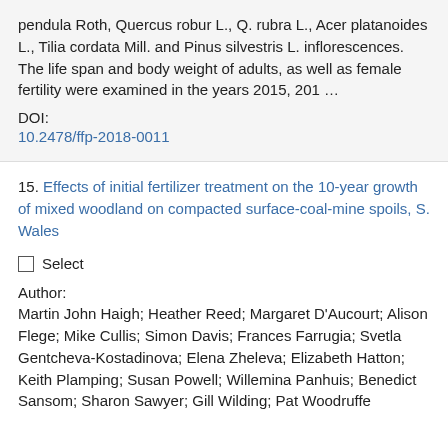pendula Roth, Quercus robur L., Q. rubra L., Acer platanoides L., Tilia cordata Mill. and Pinus silvestris L. inflorescences. The life span and body weight of adults, as well as female fertility were examined in the years 2015, 201 …
DOI:
10.2478/ffp-2018-0011
15. Effects of initial fertilizer treatment on the 10-year growth of mixed woodland on compacted surface-coal-mine spoils, S. Wales
Select
Author:
Martin John Haigh; Heather Reed; Margaret D'Aucourt; Alison Flege; Mike Cullis; Simon Davis; Frances Farrugia; Svetla Gentcheva-Kostadinova; Elena Zheleva; Elizabeth Hatton; Keith Plamping; Susan Powell; Willemina Panhuis; Benedict Sansom; Sharon Sawyer; Gill Wilding; Pat Woodruffe